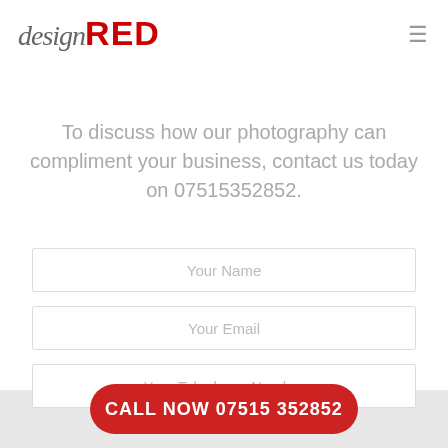[Figure (logo): design RED logo — 'design' in cursive italic grey, 'RED' in bold red capitals]
To discuss how our photography can compliment your business, contact us today on 07515352852.
Your Name
Your Email
Your Telephone Number
CALL NOW 07515 352852